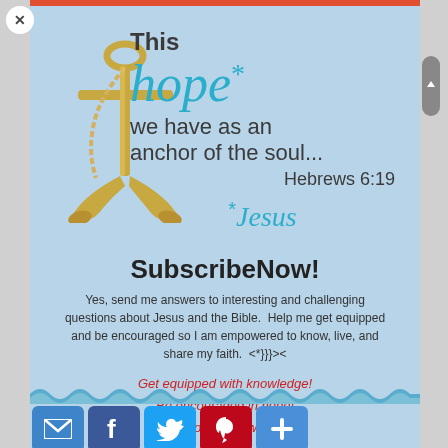[Figure (illustration): Gold metallic anchor illustration with rope, overlaid with inspirational text: 'This hope* we have as an anchor of the soul... Hebrews 6:19' and '*Jesus' in teal italic font, on a light blue background]
SubscribeNow!
Yes, send me answers to interesting and challenging questions about Jesus and the Bible. Help me get equipped and be encouraged so I am empowered to know, live, and share my faith. <*}}}><
Get equipped with knowledge!
Be encouraged in hope!
Live empowered with love!